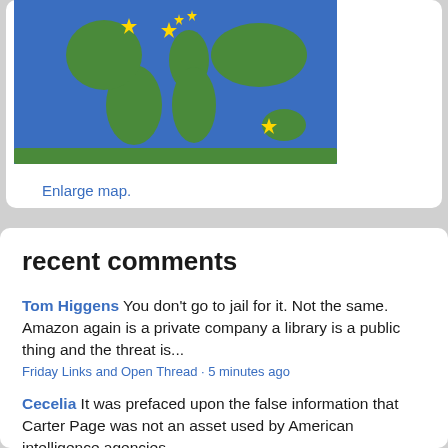[Figure (map): World map illustration with green continents on blue ocean background, with yellow star markers indicating locations]
Enlarge map.
recent comments
Tom Higgens You don't go to jail for it. Not the same. Amazon again is a private company a library is a public thing and the threat is...
Friday Links and Open Thread · 5 minutes ago
Cecelia It was prefaced upon the false information that Carter Page was not an asset used by American intelligence agencies.
Friday Links and Open Thread · 1 hour ago